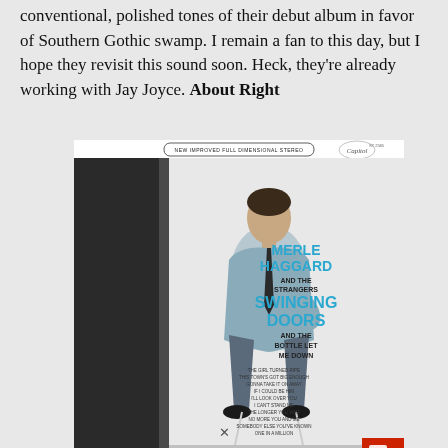conventional, polished tones of their debut album in favor of Southern Gothic swamp. I remain a fan to this day, but I hope they revisit this sound soon. Heck, they're already working with Jay Joyce. About Right
[Figure (photo): Album cover for Merle Haggard and The Strangers 'Swinging Doors and The Bottle Let Me Down' on Capitol Records (New Improved Full Dimensional Stereo). Shows Merle Haggard seated on a stool in a light-colored suit against a white background, with the album title in large cyan/blue text on the right side. A small red icon appears in the bottom right corner.]